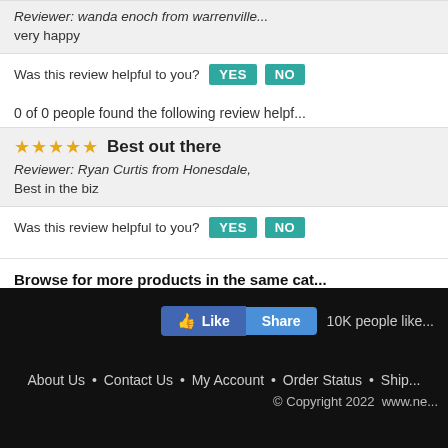Reviewer: wanda enoch from warrenville... very happy
Was this review helpful to you? YES NO
0 of 0 people found the following review helpf...
★★★★★ Best out there
Reviewer: Ryan Curtis from Honesdale,
Best in the biz
Was this review helpful to you? YES NO
Browse for more products in the same ca...
Tattoo Needles & Cartridges > NEEDLE CAR...
Tattoo Needles & Cartridges > NEEDLE CAR...
MAGNUMS - MEDIUM TAPER
[Figure (other): Facebook Like and Share buttons with 10K people like count]
About Us • Contact Us • My Account • Order Status • Ship...
© Copyright 2022 www.ne...